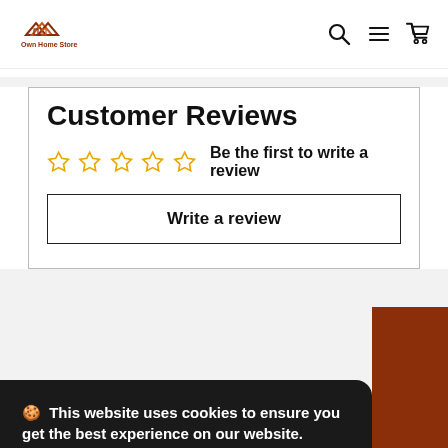Own Home Store — navigation header with logo, search, menu, and cart icons
Customer Reviews
☆☆☆☆☆  Be the first to write a review
Write a review
🍪 This website uses cookies to ensure you get the best experience on our website.
Learn more
Got it!
Information
Join Our Community